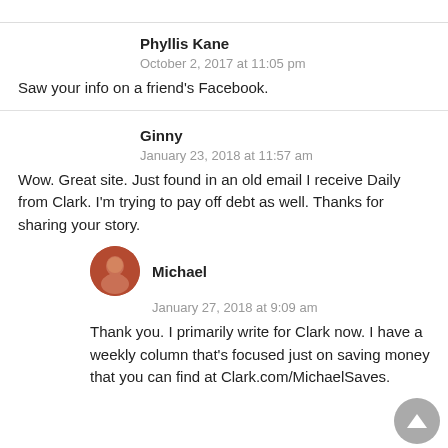Phyllis Kane
October 2, 2017 at 11:05 pm
Saw your info on a friend's Facebook.
Ginny
January 23, 2018 at 11:57 am
Wow. Great site. Just found in an old email I receive Daily from Clark. I'm trying to pay off debt as well. Thanks for sharing your story.
Michael
January 27, 2018 at 9:09 am
Thank you. I primarily write for Clark now. I have a weekly column that's focused just on saving money that you can find at Clark.com/MichaelSaves.